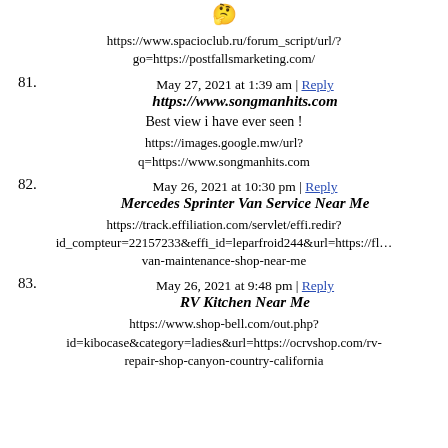[Figure (illustration): Emoji face icon]
https://www.spacioclub.ru/forum_script/url/?go=https://postfallsmarketing.com/
May 27, 2021 at 1:39 am | Reply
81. https://www.songmanhits.com
Best view i have ever seen !
https://images.google.mw/url?q=https://www.songmanhits.com
May 26, 2021 at 10:30 pm | Reply
82. Mercedes Sprinter Van Service Near Me
https://track.effiliation.com/servlet/effi.redir?id_compteur=22157233&effi_id=leparfroid244&url=https://fl... van-maintenance-shop-near-me
May 26, 2021 at 9:48 pm | Reply
83. RV Kitchen Near Me
https://www.shop-bell.com/out.php?id=kibocase&category=ladies&url=https://ocrvshop.com/rv-repair-shop-canyon-country-california